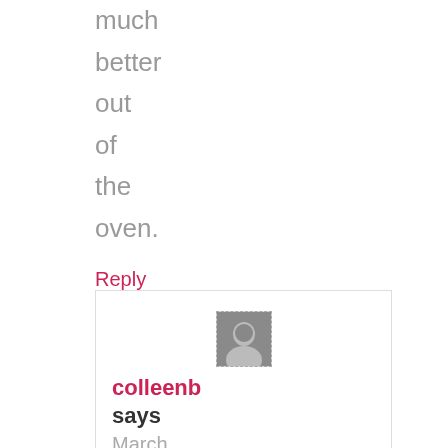much better out of the oven.
Reply
[Figure (photo): Small avatar photo of commenter colleenb, shown with dashed border]
colleenb says
March 19